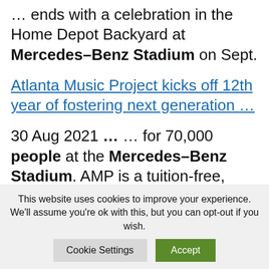… ends with a celebration in the Home Depot Backyard at Mercedes–Benz Stadium on Sept.
Atlanta Music Project kicks off 12th year of fostering next generation …
30 Aug 2021 … … for 70,000 people at the Mercedes–Benz Stadium. AMP is a tuition-free, intensive music program to teach kids about the world of music.
This website uses cookies to improve your experience. We'll assume you're ok with this, but you can opt-out if you wish.
Cookie Settings | Accept